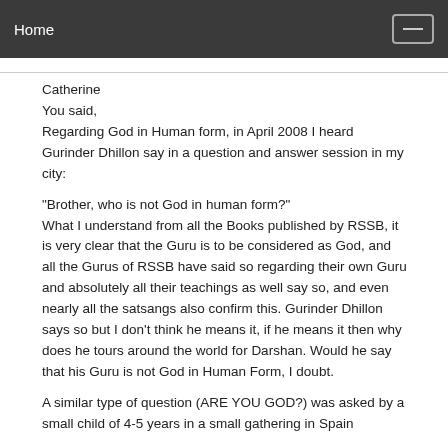Home
Catherine
You said,
Regarding God in Human form, in April 2008 I heard Gurinder Dhillon say in a question and answer session in my city:

"Brother, who is not God in human form?"
What I understand from all the Books published by RSSB, it is very clear that the Guru is to be considered as God, and all the Gurus of RSSB have said so regarding their own Guru and absolutely all their teachings as well say so, and even nearly all the satsangs also confirm this. Gurinder Dhillon says so but I don't think he means it, if he means it then why does he tours around the world for Darshan. Would he say that his Guru is not God in Human Form, I doubt.

A similar type of question (ARE YOU GOD?) was asked by a small child of 4-5 years in a small gathering in Spain